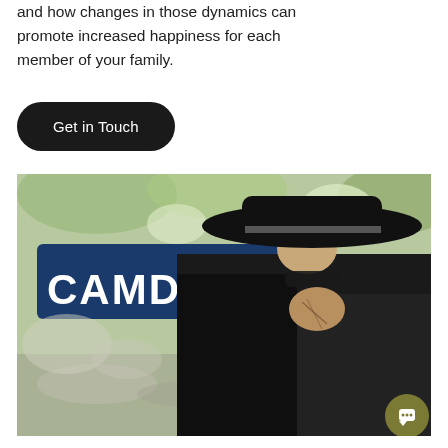and how changes in those dynamics can promote increased happiness for each member of your family.
Get in Touch
[Figure (photo): Person wearing a black wide-brim fedora hat and black jacket, adjusting sunglasses with tattooed hands, standing in front of a Camden Town sign in London. Bokeh background with blurred street scene.]